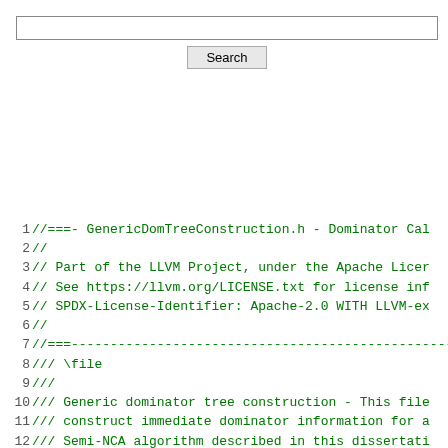[Figure (screenshot): Web browser search bar with input field and Search button, and right-side navigation links]
1 //===- GenericDomTreeConstruction.h - Dominator Cal
2 //
3 // Part of the LLVM Project, under the Apache Licer
4 // See https://llvm.org/LICENSE.txt for license inf
5 // SPDX-License-Identifier: Apache-2.0 WITH LLVM-ex
6 //
7 //===---------------------------------------------------
8 /// \file
9 ///
10 /// Generic dominator tree construction - This file
11 /// construct immediate dominator information for a
12 /// Semi-NCA algorithm described in this dissertati
13 ///
14 ///    Linear-Time Algorithms for Dominators and Rel
15 ///    Loukas Georgiadis, Princeton University, Nove
16 ///    ftp://ftp.cs.princeton.edu/reports/2005/737.p
17 ///
18 /// Semi-NCA algorithm runs in O(n^2) worst-case ti
19 /// faster than Simple Lengauer-Tarjan in practice.
20 ///
21 /// O(n^2) worst cases happen when the computation
22 /// requires O(n) average time, which is very unlik